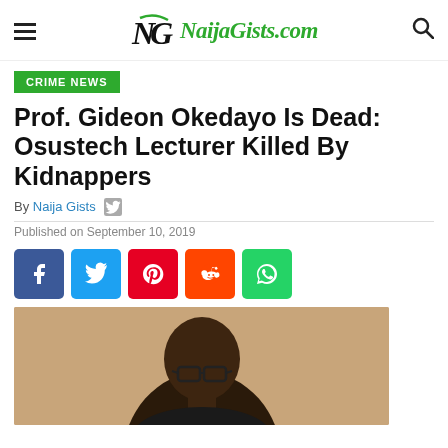NaijaGists.com
CRIME NEWS
Prof. Gideon Okedayo Is Dead: Osustech Lecturer Killed By Kidnappers
By Naija Gists
Published on September 10, 2019
[Figure (other): Social share buttons: Facebook, Twitter, Pinterest, Reddit, WhatsApp]
[Figure (photo): Photo of Prof. Gideon Okedayo, a man wearing glasses, seated, against a beige/tan background]